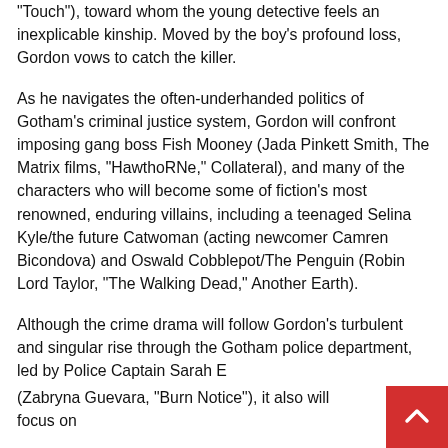“Touch”), toward whom the young detective feels an inexplicable kinship. Moved by the boy’s profound loss, Gordon vows to catch the killer.
As he navigates the often-underhanded politics of Gotham’s criminal justice system, Gordon will confront imposing gang boss Fish Mooney (Jada Pinkett Smith, The Matrix films, “HawthoRNe,” Collateral), and many of the characters who will become some of fiction’s most renowned, enduring villains, including a teenaged Selina Kyle/the future Catwoman (acting newcomer Camren Bicondova) and Oswald Cobblepot/The Penguin (Robin Lord Taylor, “The Walking Dead,” Another Earth).
Although the crime drama will follow Gordon’s turbulent and singular rise through the Gotham police department, led by Police Captain Sarah Essen (Zabryna Guevara, “Burn Notice”), it also will focus on